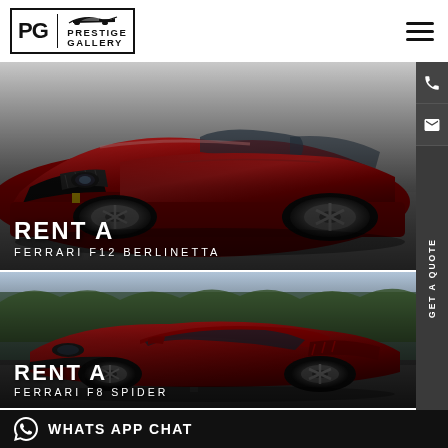Prestige Gallery
[Figure (photo): Red Ferrari F12 Berlinetta sports car viewed from front-left angle against white background]
RENT A FERRARI F12 BERLINETTA
[Figure (photo): Red Ferrari F8 Spider sports car on a mountain road with trees in background]
RENT A FERRARI F8 SPIDER
WHATS APP CHAT